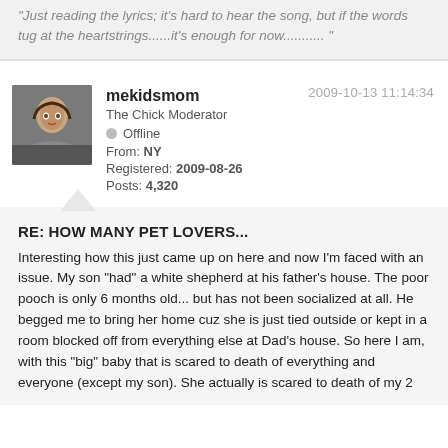"Just reading the lyrics; it's hard to hear the song, but if the words tug at the heartstrings......it's enough for now........... "
2009-10-13 11:14:34
[Figure (photo): Avatar photo of mekidsmom, a woman with dark hair]
mekidsmom
The Chick Moderator
Offline
From: NY
Registered: 2009-08-26
Posts: 4,320
RE: HOW MANY PET LOVERS...
Interesting how this just came up on here and now I'm faced with an issue.  My son "had" a white shepherd at his father's house.  The poor pooch is only 6 months old... but has not been socialized at all.  He begged me to bring her home cuz she is just tied outside or kept in a room blocked off from everything else at Dad's house.  So here I am, with this "big" baby that is scared to death of everything and everyone (except my son).  She actually is scared to death of my 2